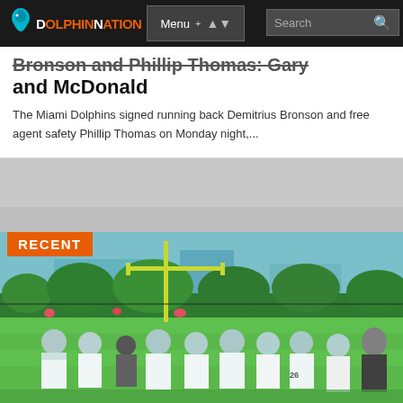DOLPHINNATION — Menu — Search
Bronson and Phillip Thomas: Gary and McDonald
The Miami Dolphins signed running back Demitrius Bronson and free agent safety Phillip Thomas on Monday night,...
RECENT
[Figure (photo): Miami Dolphins players in white uniforms and teal helmets on a practice field with yellow goal posts and green vegetation in the background. A coach in a dark gray shirt stands among the players.]